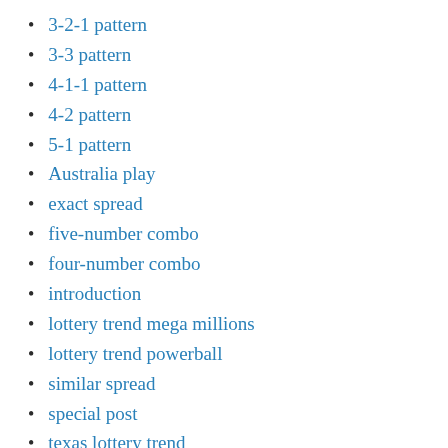3-2-1 pattern
3-3 pattern
4-1-1 pattern
4-2 pattern
5-1 pattern
Australia play
exact spread
five-number combo
four-number combo
introduction
lottery trend mega millions
lottery trend powerball
similar spread
special post
texas lottery trend
three-number combo